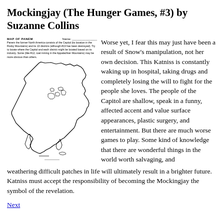Mockingjay (The Hunger Games, #3) by Suzanne Collins
[Figure (map): Outline map of North America labeled 'MAP OF PANEM' with a name line, instructions to locate the Capitol and districts by industry, and a simple black-and-white line drawing of the continent.]
Worse yet, I fear this may just have been a result of Snow's manipulation, not her own decision. This Katniss is constantly waking up in hospital, taking drugs and completely losing the will to fight for the people she loves. The people of the Capitol are shallow, speak in a funny, affected accent and value surface appearances, plastic surgery, and entertainment. But there are much worse games to play. Some kind of knowledge that there are wonderful things in the world worth salvaging, and weathering difficult patches in life will ultimately result in a brighter future. Katniss must accept the responsibility of becoming the Mockingjay the symbol of the revelation.
Next